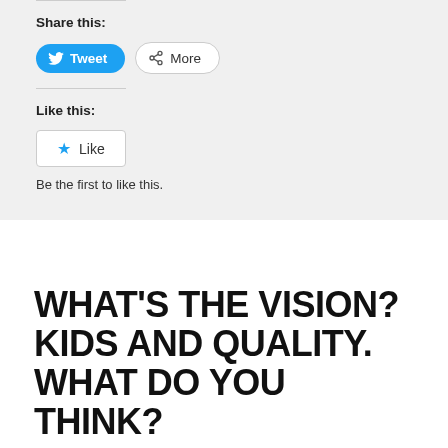Share this:
[Figure (screenshot): Tweet button (blue, rounded) and More button (white, rounded with share icon)]
Like this:
[Figure (screenshot): Like button with blue star icon]
Be the first to like this.
WHAT'S THE VISION? KIDS AND QUALITY. WHAT DO YOU THINK?
BY GUEST BLOGGER (VIA BERNITA BRADLEY) ON NOVEMBER 16, 2017 IN COMMUNITY, SCHOOL CHOICE